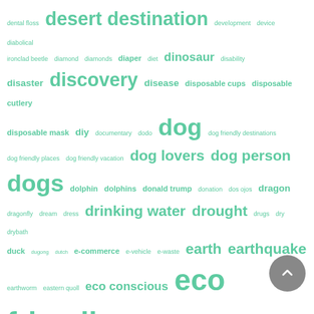[Figure (infographic): Tag cloud / word cloud featuring eco-friendly and environment-related terms in various font sizes, all in green/teal color on white background. Larger text indicates higher frequency/importance. Terms include: dental floss, desert destination, development, device, diabolical ironclad beetle, diamond, diamonds, diaper, diet, dinosaur, disability, disaster, discovery, disease, disposable cups, disposable cutlery, disposable mask, diy, documentary, dodo, dog, dog friendly destinations, dog friendly places, dog friendly vacation, dog lovers, dog person, dogs, dolphin, dolphins, donald trump, donation, dos ojos, dragon, dragonfly, dream, dress, drinking water, drought, drugs, dry, drybath, duck, dugong, dutch, e-commerce, e-vehicle, e-waste, earth, earthquake, earthworm, eastern quoll, eco conscious, eco friendly, eco friendly board games, eco friendly bra, eco friendly business, eco friendly cafe, eco friendly cooking, eco friendly cosmetics, eco friendly food, eco friendly games, eco friendly hangout places, eco friendly hotels, eco friendly housing, eco friendly ink, eco friendly jewelry, eco friendly laundry, eco friendly leather, eco friendly lifestyle, eco friendly lingerie, eco friendly packaging, eco friendly swap, eco friendly underwear, eco friendly university, eco friendly washing machine, eco friendly wedding, e commerce, economy, ecosystem, eco tourism, ecotourism, edible cup, edible cutlery, edible plastic, edible straw, education, efficient housing, eldery, electric, electric bike, electric car, electric cars, electric eel, electricity, electric motorbike, electric]